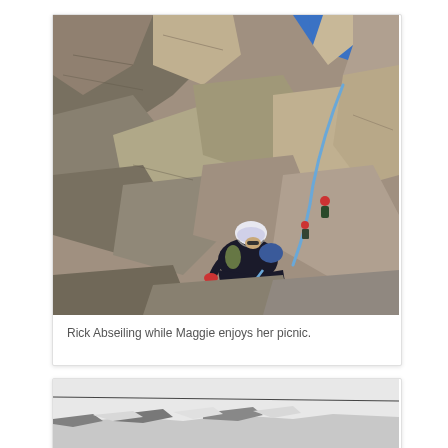[Figure (photo): A rock climber in dark clothing and a white/blue helmet sits on granite rocks with a blue rope, while another climber is visible higher up on the rocky face. A blue sky is visible at the top.]
Rick Abseiling while Maggie enjoys her picnic.
[Figure (photo): Partial view of a snowy mountain ridge with a thin line (possibly a cable or ski lift wire) visible across the sky.]